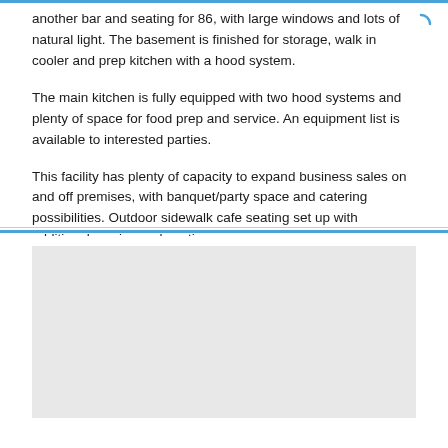another bar and seating for 86, with large windows and lots of natural light. The basement is finished for storage, walk in cooler and prep kitchen with a hood system.
The main kitchen is fully equipped with two hood systems and plenty of space for food prep and service. An equipment list is available to interested parties.
This facility has plenty of capacity to expand business sales on and off premises, with banquet/party space and catering possibilities. Outdoor sidewalk cafe seating set up with additional service and seating.
Asking $349,000
[Figure (map): A map placeholder showing a light gray area, likely a geographic map of the property location.]